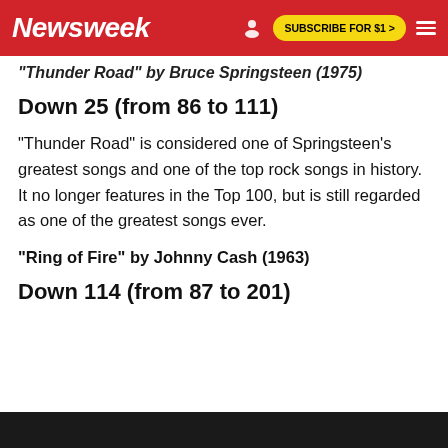Newsweek | SUBSCRIBE FOR $1 >
"Thunder Road" by Bruce Springsteen (1975)
Down 25 (from 86 to 111)
"Thunder Road" is considered one of Springsteen's greatest songs and one of the top rock songs in history. It no longer features in the Top 100, but is still regarded as one of the greatest songs ever.
"Ring of Fire" by Johnny Cash (1963)
Down 114 (from 87 to 201)